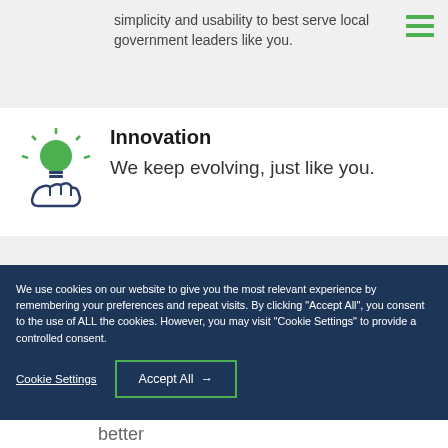simplicity and usability to best serve local government leaders like you.
[Figure (illustration): Green lightbulb held in a hand icon representing Innovation]
Innovation
We keep evolving, just like you.
We use cookies on our website to give you the most relevant experience by remembering your preferences and repeat visits. By clicking "Accept All", you consent to the use of ALL the cookies. However, you may visit "Cookie Settings" to provide a controlled consent.
Cookie Settings
Accept All
better